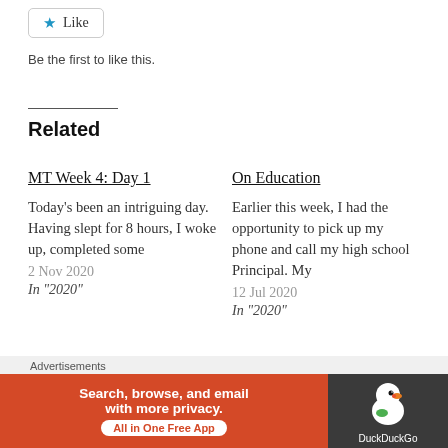Like
Be the first to like this.
Related
MT Week 4: Day 1
Today's been an intriguing day. Having slept for 8 hours, I woke up, completed some
2 Nov 2020
In "2020"
On Education
Earlier this week, I had the opportunity to pick up my phone and call my high school Principal. My
12 Jul 2020
In "2020"
8/181
[Figure (infographic): DuckDuckGo advertisement banner: orange left section with text 'Search, browse, and email with more privacy. All in One Free App' and dark right section with DuckDuckGo duck logo and brand name.]
Advertisements